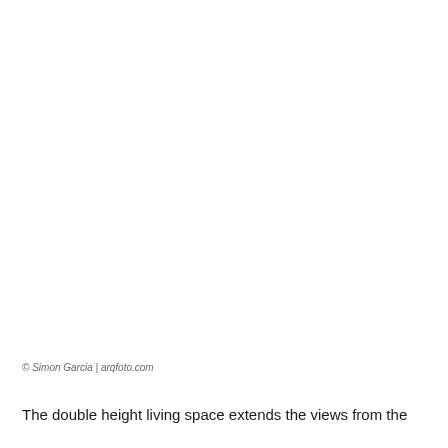[Figure (photo): Architectural interior photograph of a double height living space — image area appears white/blank in this rendering]
© Simon Garcia | arqfoto.com
The double height living space extends the views from the